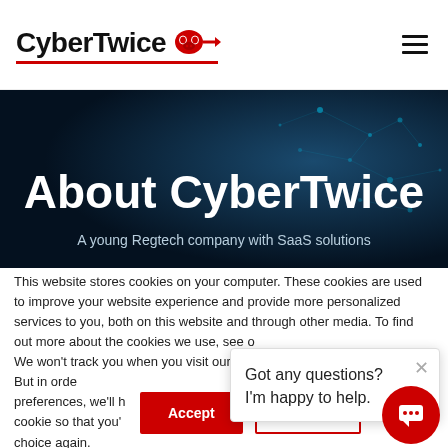CyberTwice
[Figure (illustration): Dark blue hero banner with network/digital background pattern, glowing cyan dots and lines on dark navy background]
About CyberTwice
A young Regtech company with SaaS solutions
This website stores cookies on your computer. These cookies are used to improve your website experience and provide more personalized services to you, both on this website and through other media. To find out more about the cookies we use, see o
We won't track you when you visit our site. But in order to comply with your preferences, we'll have to use just one tiny cookie so that you're not asked to make this choice again.
Got any questions? I'm happy to help.